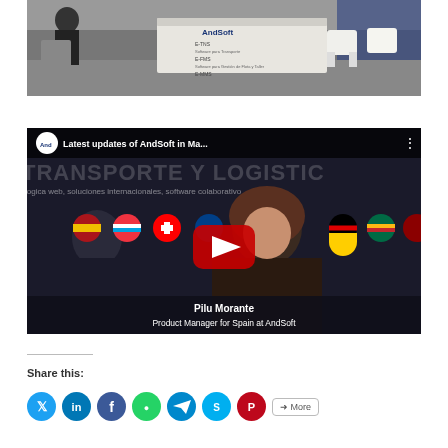[Figure (photo): Photo of AndSoft trade show booth with white chairs, desk, and AndSoft signage showing E-TNS, E-FMS, E-MMS products]
[Figure (screenshot): YouTube video thumbnail titled 'Latest updates of AndSoft in Ma...' featuring Pilu Morante, Product Manager for Spain at AndSoft, with background showing 'TRANSPORTE Y LOGISTICS' and international country flags]
Share this:
[Figure (infographic): Social sharing icons: Twitter (cyan), LinkedIn (blue), Facebook (blue), WhatsApp (green), Telegram (teal), Skype (teal), Pinterest (red), and a More button]